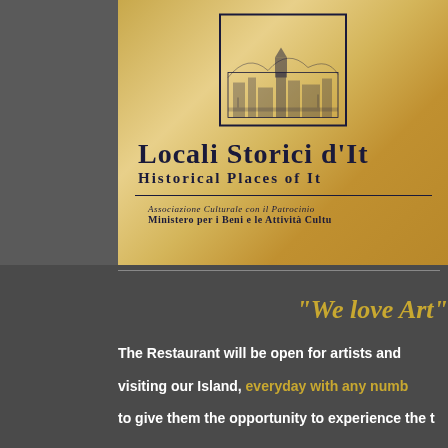[Figure (photo): A golden/brass plaque for 'Locali Storici d'Italia - Historical Places of Italy' featuring an engraved illustration of a hillside town at the top, large bold serif text of the organization name, a dividing line, and italic text about cultural association with Ministry patronage.]
"We love Art"
The Restaurant will be open for artists and visiting our Island, everyday with any numb to give them the opportunity to experience the t